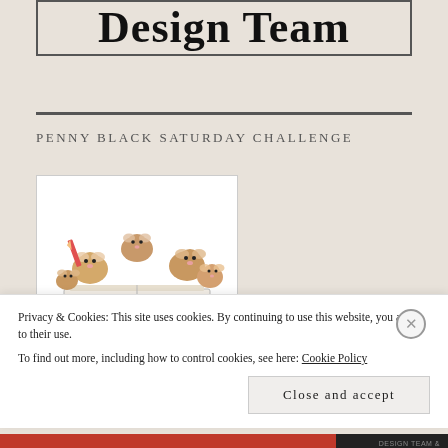Design Team
PENNY BLACK SATURDAY CHALLENGE
[Figure (illustration): Cartoon illustration of mice reading and writing around a book, with text 'PBSC Designer' on the book cover]
Privacy & Cookies: This site uses cookies. By continuing to use this website, you agree to their use.
To find out more, including how to control cookies, see here: Cookie Policy
Close and accept